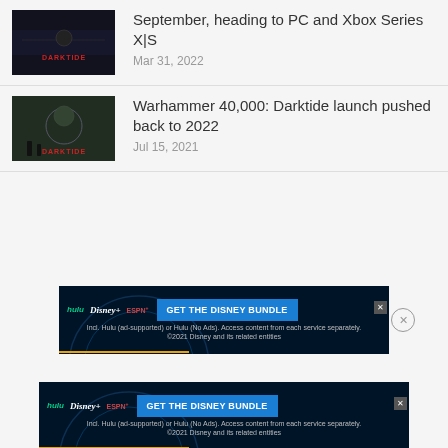September, heading to PC and Xbox Series X|S
Mar 31, 2022
Warhammer 40,000: Darktide launch pushed back to 2022
Jul 15, 2021
[Figure (other): Disney Bundle advertisement banner - Hulu, Disney+, ESPN+ logos with 'GET THE DISNEY BUNDLE' button]
[Figure (other): Disney Bundle advertisement banner - Hulu, Disney+, ESPN+ logos with 'GET THE DISNEY BUNDLE' button (second instance)]